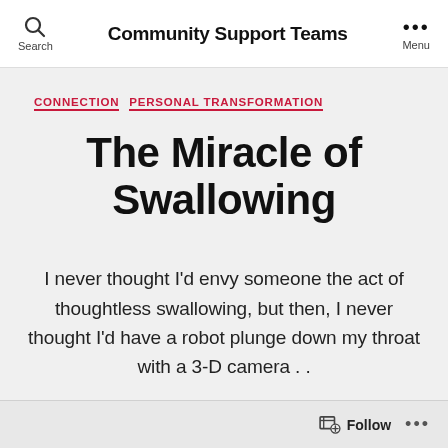Community Support Teams
CONNECTION  PERSONAL TRANSFORMATION
The Miracle of Swallowing
I never thought I'd envy someone the act of thoughtless swallowing, but then, I never thought I'd have a robot plunge down my throat with a 3-D camera . .
Follow ...